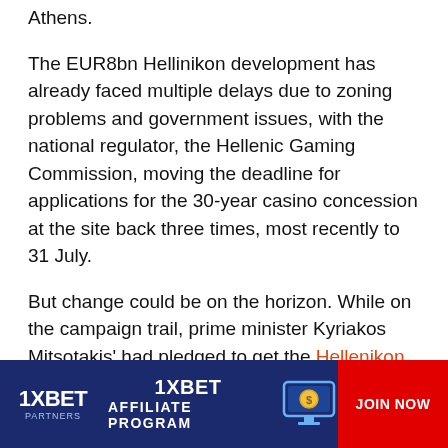Athens.
The EUR8bn Hellinikon development has already faced multiple delays due to zoning problems and government issues, with the national regulator, the Hellenic Gaming Commission, moving the deadline for applications for the 30-year casino concession at the site back three times, most recently to 31 July.
But change could be on the horizon. While on the campaign trail, prime minister Kyriakos Mitsotakis' had pledged to get the Hellenikon project back on track, and the new government looks set to make good on this promise.
“The election of the centre- right New Democracy party in Greece under prime minister Kyriakos Mitsotakis has
[Figure (infographic): 1XBET Partners affiliate program advertisement banner with dark blue background, 1XBET logo on left, '1XBET AFFILIATE PROGRAM' text in center with a monitor/coin icon, and red 'JOIN NOW' button on right.]